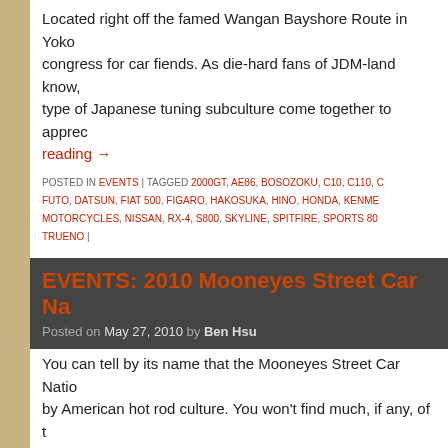Located right off the famed Wangan Bayshore Route in Yoko... congress for car fiends. As die-hard fans of JDM-land know, type of Japanese tuning subculture come together to appre... reading →
POSTED IN EVENTS | TAGGED 2000GT, AE86, BOSOZOKU, C10, C110, C... FUTO, DATSUN, FIAT 500, FIGARO, HAKOSUKA, HINO, HONDA, KENME... MOTORCYCLES, NISSAN, RX-4, S800, SKYLINE, SPITFIRE, SPORTS 80... TRUENO |
EVENTS: 2010 Mooneyes Street Car Na...
Posted on May 27, 2010 by Ben Hsu
You can tell by its name that the Mooneyes Street Car Natio... by American hot rod culture. You won't find much, if any, of t... shows. Sorry, no negative … Continue reading →
POSTED IN DATSUN, HONDA, MAZDA, NISSAN, TOYOTA | TAGGED 510... CHASER, CITY, CRESSIDA, CROWN, CROWN EIGHT, DATSUN, FAMILIA... MOONEYES, MS60, MS65, NISSAN, ODAIBA, PRIUS, R100, ROTARY, RX... STREET CAR NATIONALS, VIOLET |